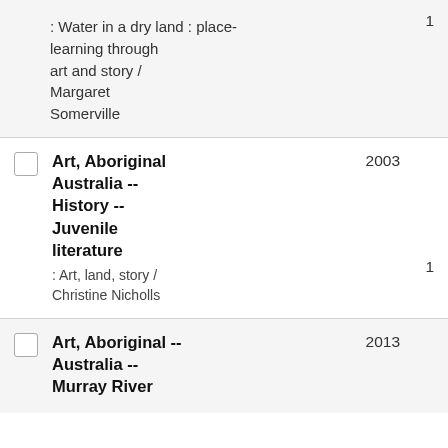: Water in a dry land : place-learning through art and story / Margaret Somerville
Art, Aboriginal Australia -- History -- Juvenile literature
Art, Aboriginal -- Australia -- Murray River